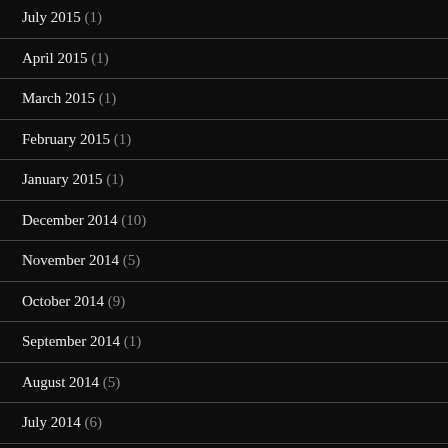July 2015 (1)
April 2015 (1)
March 2015 (1)
February 2015 (1)
January 2015 (1)
December 2014 (10)
November 2014 (5)
October 2014 (9)
September 2014 (1)
August 2014 (5)
July 2014 (6)
June 2014 (8)
May 2014 (4)